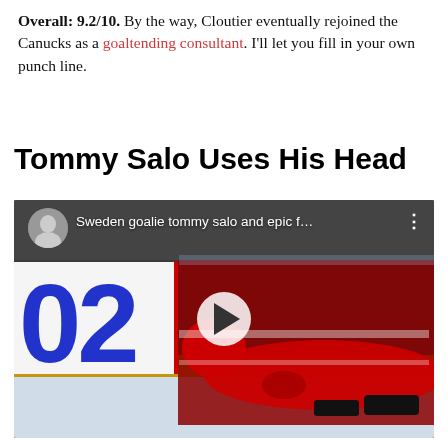Overall: 9.2/10. By the way, Cloutier eventually rejoined the Canucks as a goaltending consultant. I'll let you fill in your own punch line.
Tommy Salo Uses His Head
[Figure (screenshot): Embedded video thumbnail showing a hockey player in a red Canada jersey lying on the ice near the boards. A scoreboard shows '02' in large blue digits on white background. The video title overlay reads 'Sweden goalie tommy salo and epic f...' with a play button in the center.]